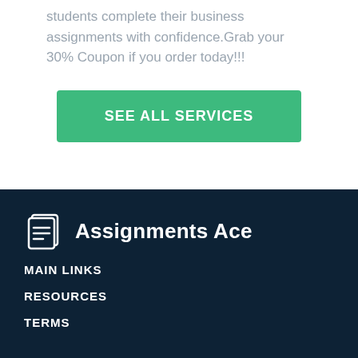students complete their business assignments with confidence.Grab your 30% Coupon if you order today!!!
SEE ALL SERVICES
[Figure (logo): Assignments Ace logo with document/clipboard icon and text]
MAIN LINKS
RESOURCES
TERMS